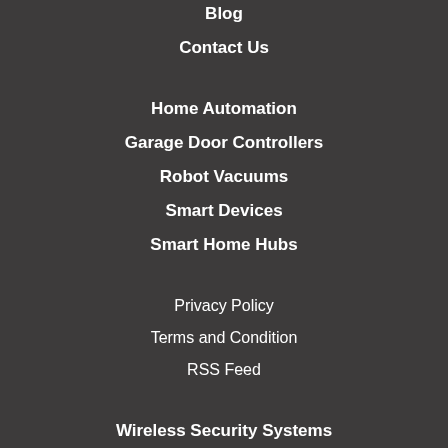Blog
Contact Us
Home Automation
Garage Door Controllers
Robot Vacuums
Smart Devices
Smart Home Hubs
Privacy Policy
Terms and Condition
RSS Feed
Wireless Security Systems
CCTV Cameras